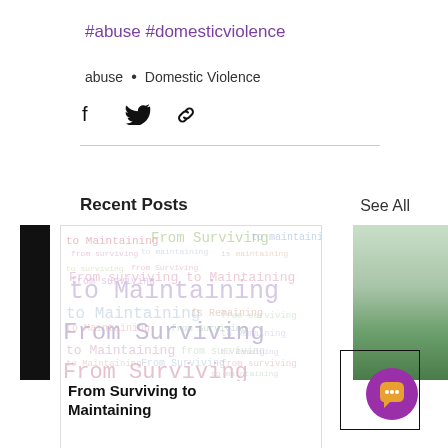#abuse #domesticviolence
abuse • Domestic Violence
[Figure (infographic): Social share icons: Facebook, Twitter, link]
Recent Posts
See All
[Figure (illustration): Word cloud image showing 'From Surviving to Maintaining' repeated in various sizes and colors]
From Surviving to Maintaining